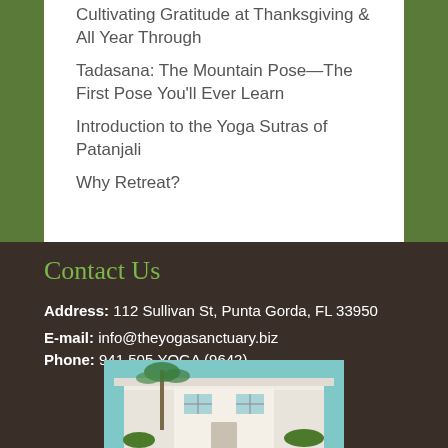Cultivating Gratitude at Thanksgiving & All Year Through
Tadasana: The Mountain Pose—The First Pose You'll Ever Learn
Introduction to the Yoga Sutras of Patanjali
Why Retreat?
Contact Us
Address: 112 Sullivan St, Punta Gorda, FL 33950
E-mail: info@theyogasanctuary.biz
Phone: 941.505.YOGA (9642)
[Figure (photo): Exterior photo of The Yoga Sanctuary building, a white two-story structure with trees in background]